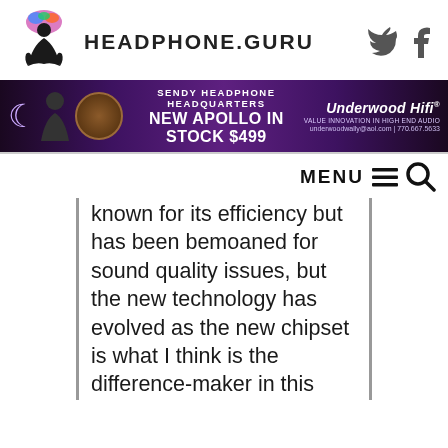HEADPHONE.GURU
[Figure (infographic): Headphone.guru website banner advertisement for Sendy Headphone Headquarters: New Apollo in Stock $499, Underwood HiFi]
[Figure (other): MENU navigation bar with hamburger icon and search icon]
known for its efficiency but has been bemoaned for sound quality issues, but the new technology has evolved as the new chipset is what I think is the difference-maker in this device.  The Infineon chip is also packed with PQFN thermal efficient materials which reduces the need for heatsinks. All of this is great for small desktop style devices, keeping it small but efficient